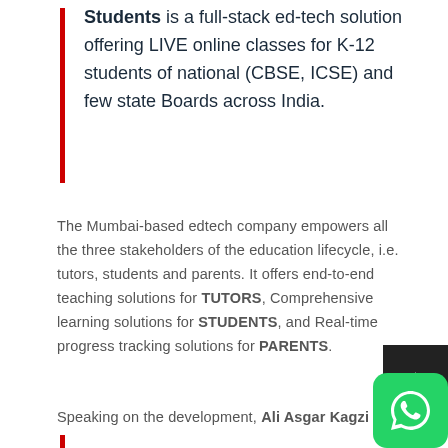Students is a full-stack ed-tech solution offering LIVE online classes for K-12 students of national (CBSE, ICSE) and few state Boards across India.
The Mumbai-based edtech company empowers all the three stakeholders of the education lifecycle, i.e. tutors, students and parents. It offers end-to-end teaching solutions for TUTORS, Comprehensive learning solutions for STUDENTS, and Real-time progress tracking solutions for PARENTS.
Speaking on the development, Ali Asgar Kagzi sai...